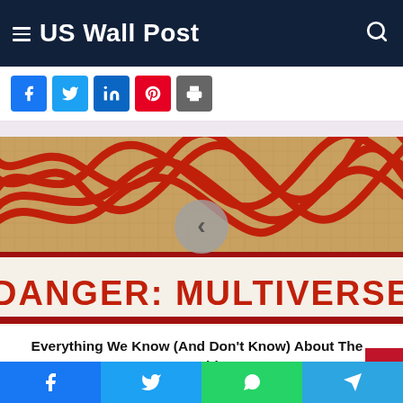US Wall Post
[Figure (screenshot): Website screenshot showing US Wall Post header with hamburger menu and search icon on dark navy background]
[Figure (photo): Image showing red tangled wires/strings on a tan/beige grid background with text reading DANGER: MULTIVERSE in bold red letters on a white/cream banner at the bottom. A circular navigation arrow button overlays the center.]
Everything We Know (And Don't Know) About The MCU's Multiverse